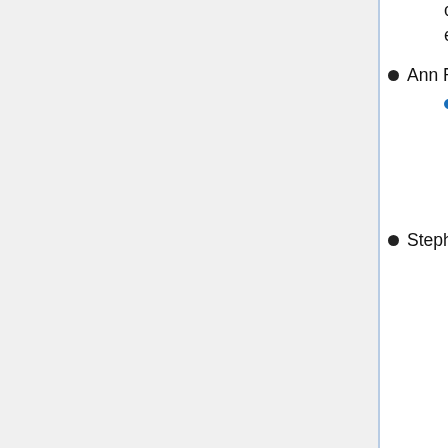cards were saved as evidence in a manila envelope and tucked in among the boxes of evidence."
Ann Rule - a potential handler of Bundy
From p.37 of The Stranger Beside Me: "We might never have met at all. Logically, statistically, demographically, the chance that Ted Bundy and I should meet and become fast friends is almost too obscure to contemplate. We have lived in the same states at the same time—not once but many times—but the ten years between our ages precluded our meeting for many years."
Stephen Michaud and Hugh Aynesworth